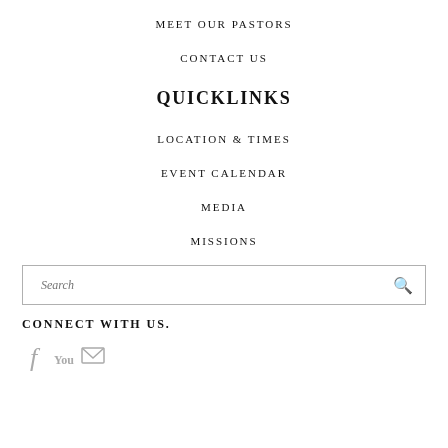MEET OUR PASTORS
CONTACT US
QUICKLINKS
LOCATION & TIMES
EVENT CALENDAR
MEDIA
MISSIONS
Search
CONNECT WITH US.
[Figure (illustration): Social media icons: Facebook (f), YouTube (You), Email (envelope)]